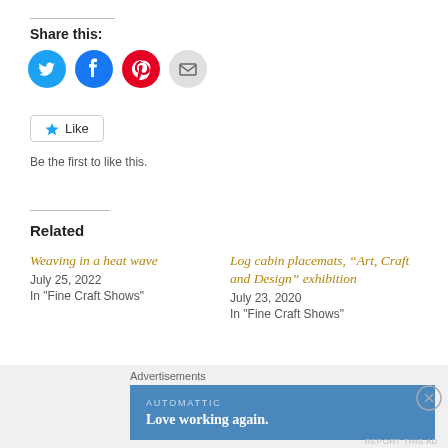Share this:
[Figure (infographic): Four social sharing icons: Twitter (blue circle), Facebook (blue circle), Pinterest (red circle), Email (gray circle)]
[Figure (infographic): Like button with star icon, followed by text 'Be the first to like this.']
Be the first to like this.
Related
Weaving in a heat wave
July 25, 2022
In "Fine Craft Shows"
Log cabin placemats, “Art, Craft and Design” exhibition
July 23, 2020
In "Fine Craft Shows"
Reflections upon “Weaving
Advertisements
[Figure (infographic): Automattic advertisement banner with text 'Love working again.']